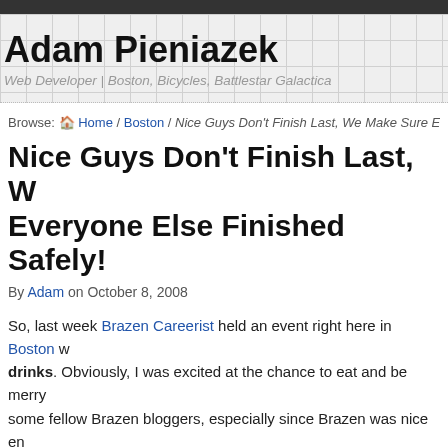Adam Pieniazek
Web Developer | Boston, Bicycles, Battlestar Galactica
Browse: 🏠 Home / Boston / Nice Guys Don't Finish Last, We Make Sure Everyone E…
Nice Guys Don't Finish Last, We Make Sure Everyone Else Finished Safely!
By Adam on October 8, 2008
So, last week Brazen Careerist held an event right here in Boston with free food and drinks. Obviously, I was excited at the chance to eat and be merry and meet some fellow Brazen bloggers, especially since Brazen was nice enough to invite our friends to the event. Well I sent out an e-mail to a few friends and had two confirm they'd attend.